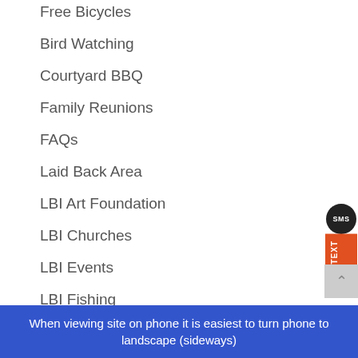Free Bicycles
Bird Watching
Courtyard BBQ
Family Reunions
FAQs
Laid Back Area
LBI Art Foundation
LBI Churches
LBI Events
LBI Fishing
LBI Foundation
LBI Kayaking
LBI Resources
When viewing site on phone it is easiest to turn phone to landscape (sideways)